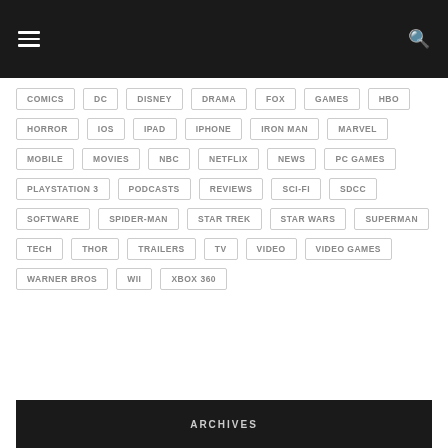Menu | Search
COMICS
DC
DISNEY
DRAMA
FOX
GAMES
HBO
HORROR
IOS
IPAD
IPHONE
IRON MAN
MARVEL
MOBILE
MOVIES
NBC
NETFLIX
NEWS
PC GAMES
PLAYSTATION 3
PODCASTS
REVIEWS
SCI-FI
SDCC
SOFTWARE
SPIDER-MAN
STAR TREK
STAR WARS
SUPERMAN
TECH
THOR
TRAILERS
TV
VIDEO
VIDEO GAMES
WARNER BROS
WII
XBOX 360
ARCHIVES